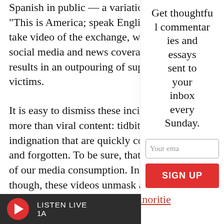Spanish in public — a variation on the "This is America; speak English" — was captured on video of the exchange, which got social media and news coverage of the results in an outpouring of support for victims.
It is easy to dismiss these incidents as more than viral content: tidbits of real indignation that are quickly consumed and forgotten. To be sure, that is a valid view of our media consumption. In terms though, these videos unmask an ugly everyday life for racialized minorities
Get thoughtful commentaries and essays sent to your inbox every Sunday.
Your email
SIGN UP
LISTEN LIVE
1A